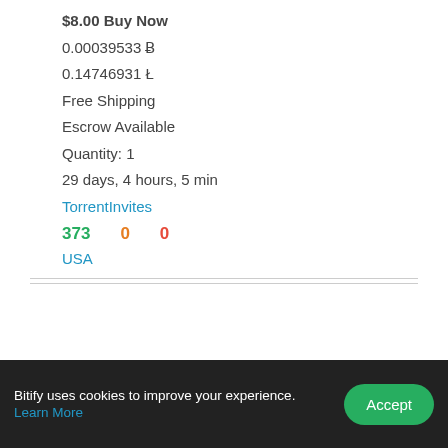$8.00 Buy Now
0.00039533 Ƀ
0.14746931 Ł
Free Shipping
Escrow Available
Quantity: 1
29 days, 4 hours, 5 min
TorrentInvites
373   0   0
USA
Featured
[Figure (photo): Small banner advertisement image showing a person near water at dusk]
Bitify uses cookies to improve your experience. Learn More
Accept